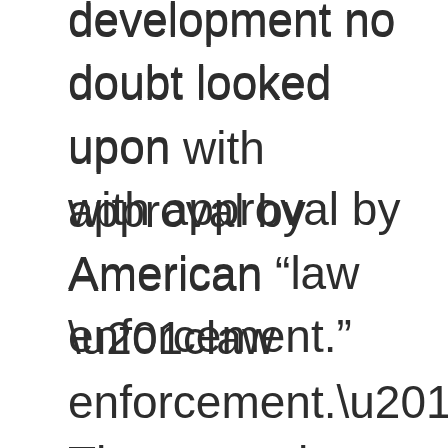development no doubt looked upon with approval by American “law enforcement.” The courts have generally uphold